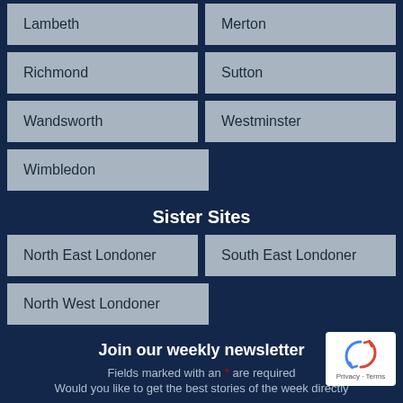Lambeth
Merton
Richmond
Sutton
Wandsworth
Westminster
Wimbledon
Sister Sites
North East Londoner
South East Londoner
North West Londoner
Join our weekly newsletter
Fields marked with an * are required
Would you like to get the best stories of the week directly